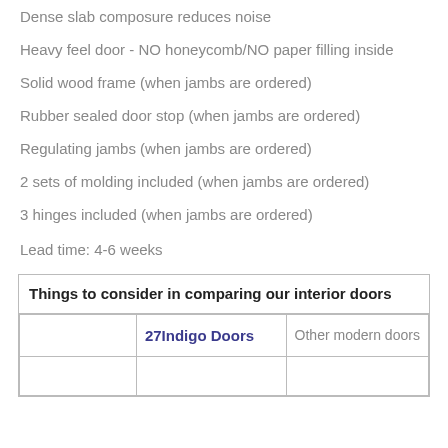Dense slab composure reduces noise
Heavy feel door - NO honeycomb/NO paper filling inside
Solid wood frame (when jambs are ordered)
Rubber sealed door stop (when jambs are ordered)
Regulating jambs (when jambs are ordered)
2 sets of molding included (when jambs are ordered)
3 hinges included (when jambs are ordered)
Lead time: 4-6 weeks
|  | 27Indigo Doors | Other modern doors |
| --- | --- | --- |